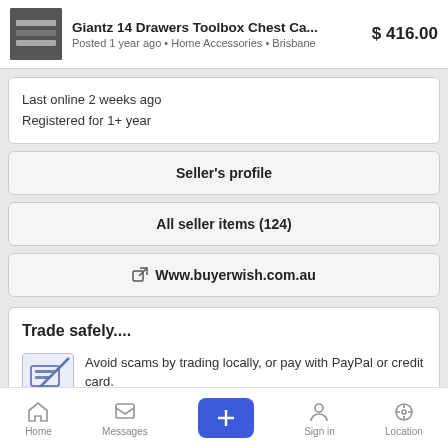Giantz 14 Drawers Toolbox Chest Ca... $416.00 Posted 1 year ago • Home Accessories • Brisbane
Last online 2 weeks ago
Registered for 1+ year
Seller's profile
All seller items (124)
Www.buyerwish.com.au
Trade safely....
Avoid scams by trading locally, or pay with PayPal or credit card.
Don't buy or sell outside of your country. Don't accept cheques from outside your country.
Home  Messages  +  Sign in  Location